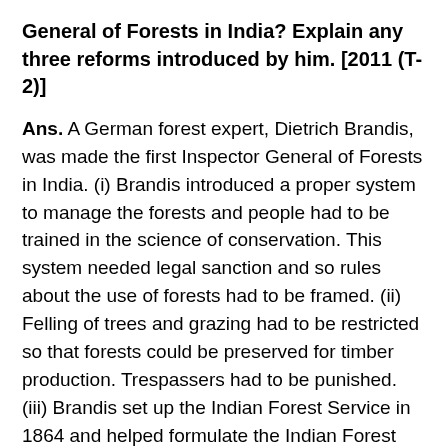General of Forests in India? Explain any three reforms introduced by him. [2011 (T-2)]
Ans. A German forest expert, Dietrich Brandis, was made the first Inspector General of Forests in India. (i) Brandis introduced a proper system to manage the forests and people had to be trained in the science of conservation. This system needed legal sanction and so rules about the use of forests had to be framed. (ii) Felling of trees and grazing had to be restricted so that forests could be preserved for timber production. Trespassers had to be punished. (iii) Brandis set up the Indian Forest Service in 1864 and helped formulate the Indian Forest Act of 1865. The Imperial Forest Research Institute was set up at Dehradun in 1906. The system they taught here was